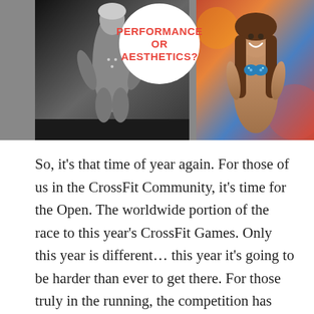[Figure (photo): Two side-by-side photos. Left: a black-and-white photo of a female bodybuilder/fitness competitor on stage in a bikini. Right: a color photo of a smiling female fitness competitor in a blue sparkly bikini. A white circle overlay in the center between them displays the text 'PERFORMANCE OR AESTHETICS?' in red uppercase letters.]
So, it's that time of year again. For those of us in the CrossFit Community, it's time for the Open. The worldwide portion of the race to this year's CrossFit Games. Only this year is different… this year it's going to be harder than ever to get there. For those truly in the running, the competition has already begun. 2 of the largest CF sanctioned events have already taken place, The Dubai Fitness Championship and The Wodapalooza Fitness Festival have already taken place, and several